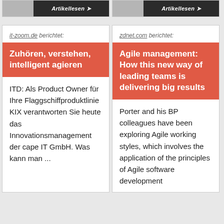[Figure (screenshot): Top bar with two article card stubs showing 'Artikellesen' buttons on dark background]
it-zoom.de berichtet:
Zuhören, verstehen, intelligent agieren
ITD: Als Product Owner für Ihre Flaggschiffproduktlinie KIX verantworten Sie heute das Innovationsmanagement der cape IT GmbH. Was kann man ...
zdnet.com berichtet:
Agile management: How this new way of leading teams is delivering big results
Porter and his BP colleagues have been exploring Agile working styles, which involves the application of the principles of Agile software development